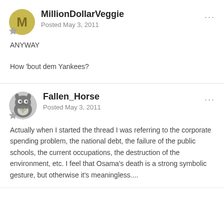MillionDollarVeggie
Posted May 3, 2011
ANYWAY
How 'bout dem Yankees?
Fallen_Horse
Posted May 3, 2011
Actually when I started the thread I was referring to the corporate spending problem, the national debt, the failure of the public schools, the current occupations, the destruction of the environment, etc. I feel that Osama's death is a strong symbolic gesture, but otherwise it's meaningless....